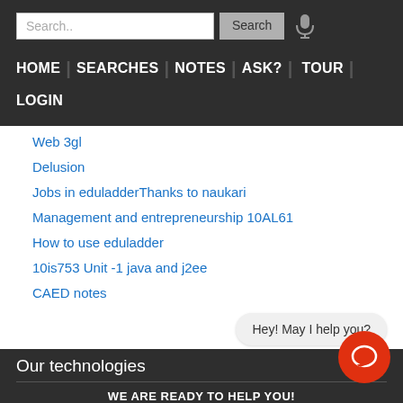Search.. [Search] [mic icon]
HOME | SEARCHES | NOTES | ASK? | TOUR | LOGIN
Web 3gl
Delusion
Jobs in eduladderThanks to naukari
Management and entrepreneurship 10AL61
How to use eduladder
10is753 Unit -1 java and j2ee
CAED notes
Hey! May I help you?
Our technologies
WE ARE READY TO HELP YOU!
JOIN US TO ASK YOUR QUESTION